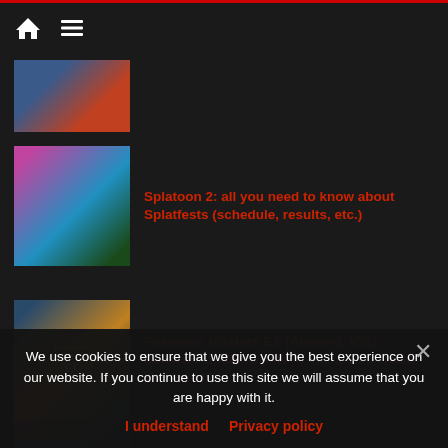Navigation bar with home and menu icons
(Yo-kai Watch article thumbnail - partial/cropped)
Splatoon 2: all you need to know about Splatfests (schedule, results, etc.)
Pokémon Masters EX (Android, iOS): Software updates (latest: Ver. 2.23.5 / Next: Ver. 2.24.0)
Mario Kart Tour: events and Content Updates
Yokai Watch 5: list of passwords / passcodes (QR...
We use cookies to ensure that we give you the best experience on our website. If you continue to use this site we will assume that you are happy with it.
I understand   Privacy policy